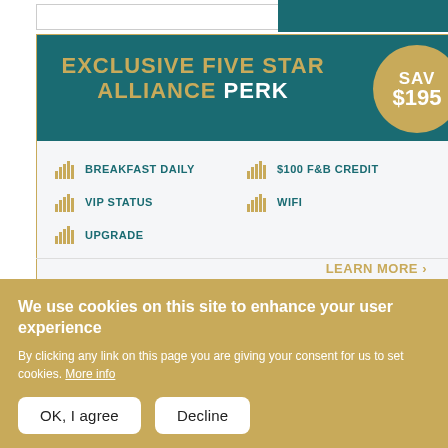[Figure (infographic): Exclusive Five Star Alliance Perk banner with teal header, gold badge showing SAV $195, and perks list including Breakfast Daily, VIP Status, Upgrade, $100 F&B Credit, Wifi, with Learn More link]
We use cookies on this site to enhance your user experience
By clicking any link on this page you are giving your consent for us to set cookies. More info
OK, I agree
Decline